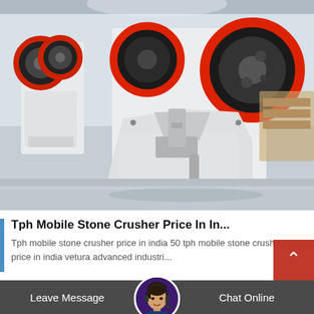[Figure (photo): Industrial jaw crushers lined up in a factory/warehouse setting. The machines are white/cream colored with large red and black flywheels. Multiple units visible in background, heavy industrial mining/crushing equipment.]
Tph Mobile Stone Crusher Price In In...
Tph mobile stone crusher price in india 50 tph mobile stone crusher price in india vetura advanced industri...
Leave Message   Chat Online